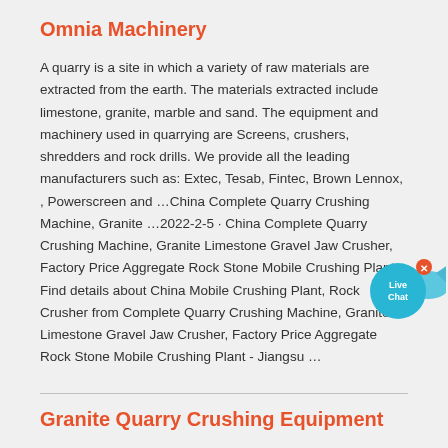Omnia Machinery
A quarry is a site in which a variety of raw materials are extracted from the earth. The materials extracted include limestone, granite, marble and sand. The equipment and machinery used in quarrying are Screens, crushers, shredders and rock drills. We provide all the leading manufacturers such as: Extec, Tesab, Fintec, Brown Lennox, , Powerscreen and …China Complete Quarry Crushing Machine, Granite …2022-2-5 · China Complete Quarry Crushing Machine, Granite Limestone Gravel Jaw Crusher, Factory Price Aggregate Rock Stone Mobile Crushing Plant, Find details about China Mobile Crushing Plant, Rock Crusher from Complete Quarry Crushing Machine, Granite Limestone Gravel Jaw Crusher, Factory Price Aggregate Rock Stone Mobile Crushing Plant - Jiangsu …
[Figure (illustration): Live Chat button with fish-shaped bubble icon in cyan/teal color with white text saying 'Live Chat' and an x close button]
Granite Quarry Crushing Equipment
2021-4-22 · Granite Quarry Plant Design Layout In Pakistan. quarry mining plant in zambia MC Machinery establishing a quarry plant in